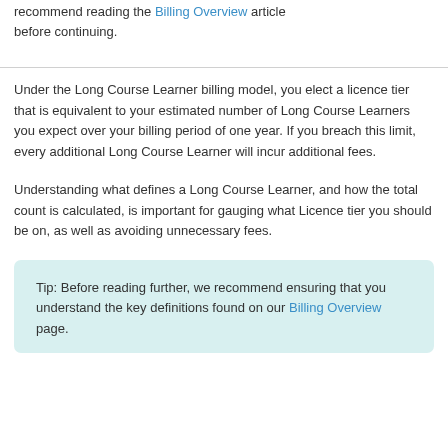recommend reading the Billing Overview article before continuing.
Under the Long Course Learner billing model, you elect a licence tier that is equivalent to your estimated number of Long Course Learners you expect over your billing period of one year. If you breach this limit, every additional Long Course Learner will incur additional fees.
Understanding what defines a Long Course Learner, and how the total count is calculated, is important for gauging what Licence tier you should be on, as well as avoiding unnecessary fees.
Tip: Before reading further, we recommend ensuring that you understand the key definitions found on our Billing Overview page.